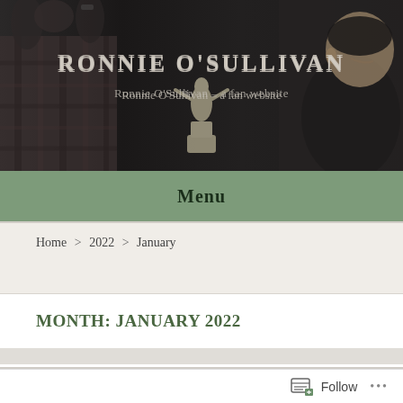[Figure (photo): Header banner showing dark crowd scene background with two people visible, overlaid with site title text]
RONNIE O'SULLIVAN
Ronnie O'Sullivan – a fan website
Menu
Home > 2022 > January
MONTH: JANUARY 2022
Follow